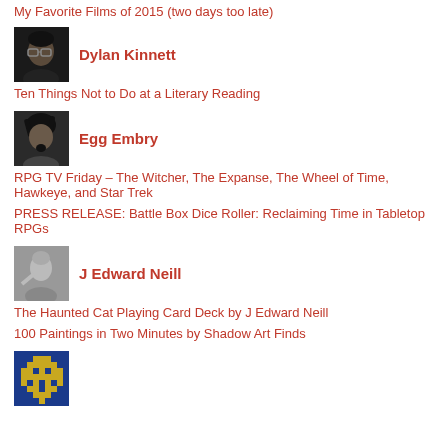My Favorite Films of 2015 (two days too late)
[Figure (photo): Headshot of Dylan Kinnett, man with dark hair and glasses, dark background]
Dylan Kinnett
Ten Things Not to Do at a Literary Reading
[Figure (photo): Stylized portrait of Egg Embry, dark hair, goatee, grayscale]
Egg Embry
RPG TV Friday – The Witcher, The Expanse, The Wheel of Time, Hawkeye, and Star Trek
PRESS RELEASE: Battle Box Dice Roller: Reclaiming Time in Tabletop RPGs
[Figure (photo): Grayscale photo of J Edward Neill]
J Edward Neill
The Haunted Cat Playing Card Deck by J Edward Neill
100 Paintings in Two Minutes by Shadow Art Finds
[Figure (logo): Blue and yellow pixel art logo]